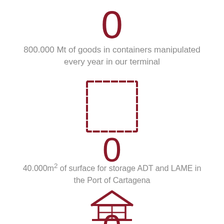[Figure (infographic): Large red zero digit acting as a counter/statistic display]
800.000 Mt of goods in containers manipulated every year in our terminal
[Figure (infographic): Dashed red square border icon representing container/storage area]
[Figure (infographic): Large red zero digit acting as a counter/statistic display]
40.000m2 of surface for storage ADT and LAME in the Port of Cartagena
[Figure (infographic): Red warehouse/building icon with pitched roof and window grid]
[Figure (infographic): Large red zero digit acting as a counter/statistic display (partially visible)]